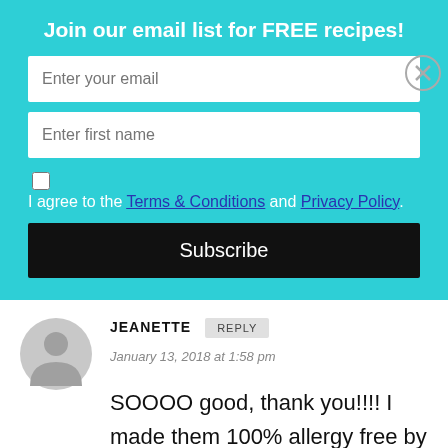Join our email list for FREE recipes!
Enter your email
Enter first name
I agree to the Terms & Conditions and Privacy Policy
Subscribe
JEANETTE
January 13, 2018 at 1:58 pm
SOOOO good, thank you!!!! I made them 100% allergy free by omitting the eggs and added 2 Tbs. more of psyllium husk. So soft & chewy! I